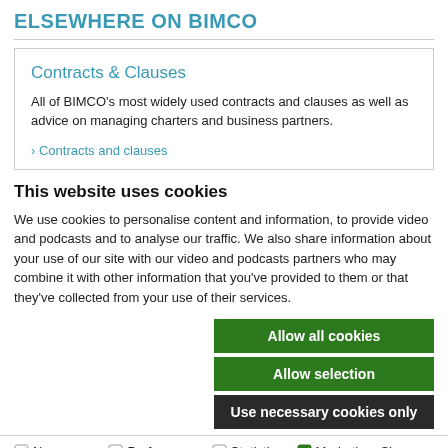ELSEWHERE ON BIMCO
Contracts & Clauses
All of BIMCO's most widely used contracts and clauses as well as advice on managing charters and business partners.
› Contracts and clauses
This website uses cookies
We use cookies to personalise content and information, to provide video and podcasts and to analyse our traffic. We also share information about your use of our site with our video and podcasts partners who may combine it with other information that you've provided to them or that they've collected from your use of their services.
Allow all cookies
Allow selection
Use necessary cookies only
Necessary  Preferences  Statistics  Marketing  Show details